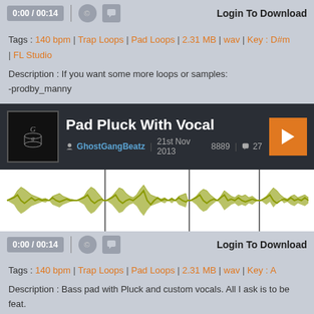[Figure (screenshot): Audio player bar showing 0:00 / 00:14, copyright icon, chat icon, and Login To Download button]
Tags : 140 bpm | Trap Loops | Pad Loops | 2.31 MB | wav | Key : D#m | FL Studio
Description : If you want some more loops or samples:
-prodby_manny
[Figure (screenshot): Audio player card for Pad Pluck With Vocal by GhostGangBeatz, 21st Nov 2013, 8889 plays, 27 comments, with waveform display]
[Figure (screenshot): Audio player bar showing 0:00 / 00:14, copyright icon, chat icon, and Login To Download button]
Tags : 140 bpm | Trap Loops | Pad Loops | 2.31 MB | wav | Key : A
Description : Bass pad with Pluck and custom vocals. All I ask is to be feat.